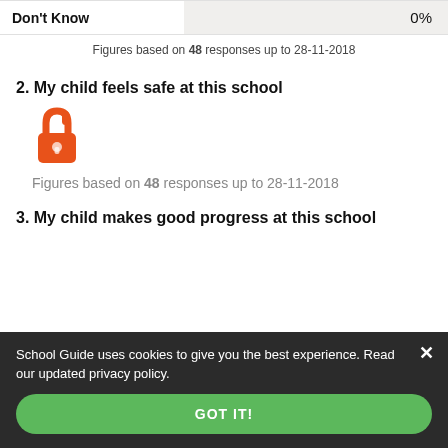|  |  |
| --- | --- |
| Don't Know | 0% |
Figures based on 48 responses up to 28-11-2018
2. My child feels safe at this school
[Figure (illustration): Orange unlocked padlock icon]
Figures based on 48 responses up to 28-11-2018
3. My child makes good progress at this school
School Guide uses cookies to give you the best experience. Read our updated privacy policy.